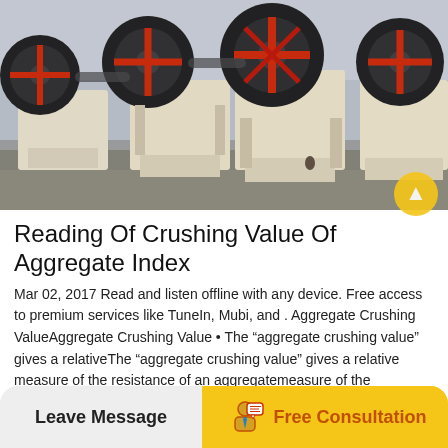[Figure (photo): Industrial jaw crushers with large black and red flywheel wheels, cream/white painted heavy machinery bodies, arranged in a row in a factory or yard setting]
Reading Of Crushing Value Of Aggregate Index
Mar 02, 2017 Read and listen offline with any device. Free access to premium services like TuneIn, Mubi, and . Aggregate Crushing ValueAggregate Crushing Value • The “aggregate crushing value” gives a relativeThe “aggregate crushing value” gives a relative measure of the resistance of an aggregatemeasure of the resistance of an aggregate.May 27, 2020 The crushing value of an aggregate…
Leave Message
Free Consultation